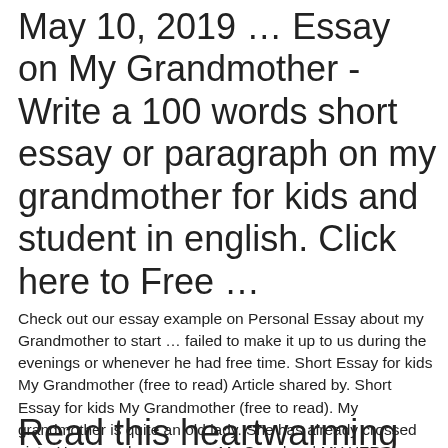May 10, 2019 … Essay on My Grandmother - Write a 100 words short essay or paragraph on my grandmother for kids and student in english. Click here to Free …
Check out our essay example on Personal Essay about my Grandmother to start … failed to make it up to us during the evenings or whenever he had free time. Short Essay for kids My Grandmother (free to read) Article shared by. Short Essay for kids My Grandmother (free to read). My grandmother is quite an old lady. She has already crossed sixty. Her years have now … My Grandma | MY HERO
Read this heartwarming eulogy